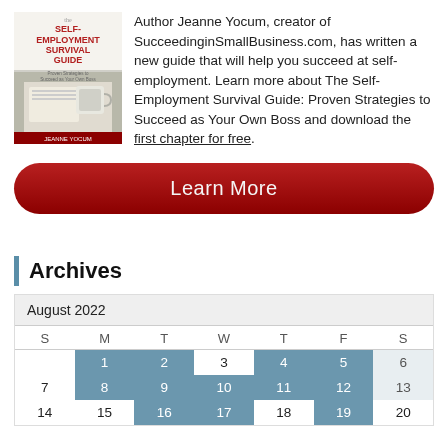[Figure (illustration): Book cover of 'The Self-Employment Survival Guide' by Jeanne Yocum, showing a coffee mug on a desk with papers]
Author Jeanne Yocum, creator of SucceedinginSmallBusiness.com, has written a new guide that will help you succeed at self-employment. Learn more about The Self-Employment Survival Guide: Proven Strategies to Succeed as Your Own Boss and download the first chapter for free.
Learn More
Archives
| S | M | T | W | T | F | S |
| --- | --- | --- | --- | --- | --- | --- |
|  | 1 | 2 | 3 | 4 | 5 | 6 |
| 7 | 8 | 9 | 10 | 11 | 12 | 13 |
| 14 | 15 | 16 | 17 | 18 | 19 | 20 |